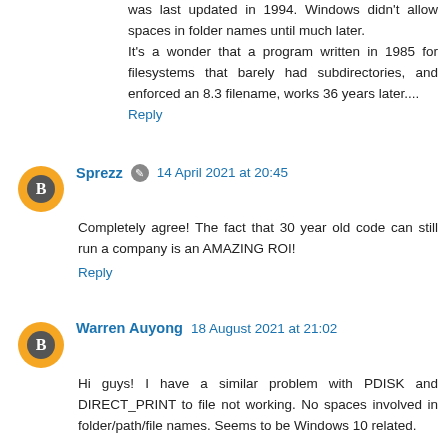was last updated in 1994. Windows didn't allow spaces in folder names until much later.
It's a wonder that a program written in 1985 for filesystems that barely had subdirectories, and enforced an 8.3 filename, works 36 years later....
Reply
Sprezz · 14 April 2021 at 20:45
Completely agree! The fact that 30 year old code can still run a company is an AMAZING ROI!
Reply
Warren Auyong · 18 August 2021 at 21:02
Hi guys! I have a similar problem with PDISK and DIRECT_PRINT to file not working. No spaces involved in folder/path/file names. Seems to be Windows 10 related.

I cloned a client's system to work on my home Windows 10 pro desktop. ARev32, OI 9.4, LH service 4.7.2, Net driver